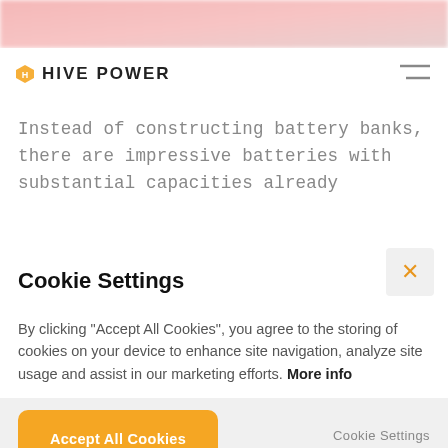[Figure (photo): Blurred top banner image with pink/red tones]
HIVE POWER
Instead of constructing battery banks, there are impressive batteries with substantial capacities already
Cookie Settings
By clicking “Accept All Cookies”, you agree to the storing of cookies on your device to enhance site navigation, analyze site usage and assist in our marketing efforts. More info
Accept All Cookies
Cookie Settings